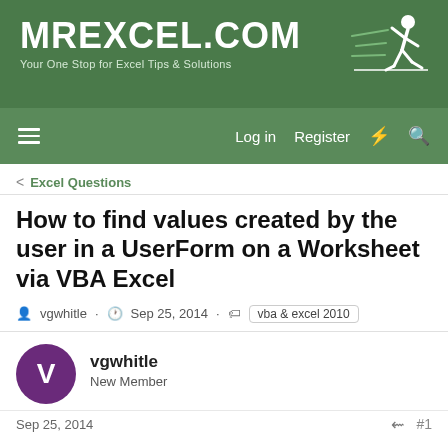MrExcel.com — Your One Stop for Excel Tips & Solutions
Excel Questions
How to find values created by the user in a UserForm on a Worksheet via VBA Excel
vgwhitle · Sep 25, 2014 · vba & excel 2010
vgwhitle
New Member
Sep 25, 2014  #1
I am trying to figure out a way to take a date that the user enters in a UserForm, store that value in a variable, and then go find that same date on a worksheet where a range of dates are listed. Then I need to take that location of the date (within the